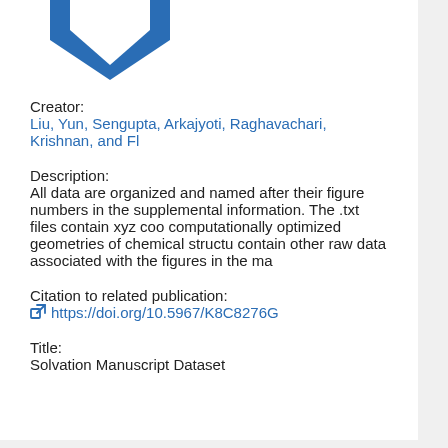[Figure (logo): Blue arrow/chevron logo pointing downward, partially visible at top]
Creator:
Liu, Yun, Sengupta, Arkajyoti, Raghavachari, Krishnan, and Fl…
Description:
All data are organized and named after their figure numbers in the supplemental information. The .txt files contain xyz coordinates of computationally optimized geometries of chemical structures. .xlsx files contain other raw data associated with the figures in the ma…
Citation to related publication:
https://doi.org/10.5967/K8C8276G
Title:
Solvation Manuscript Dataset